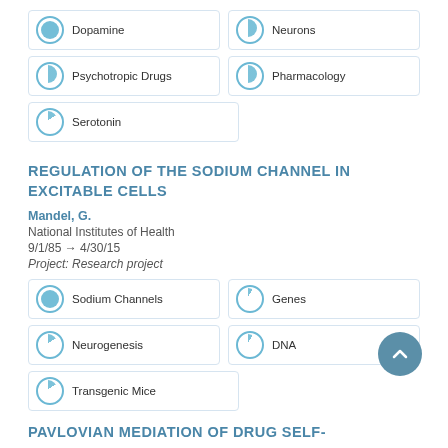Dopamine
Neurons
Psychotropic Drugs
Pharmacology
Serotonin
REGULATION OF THE SODIUM CHANNEL IN EXCITABLE CELLS
Mandel, G.
National Institutes of Health
9/1/85 → 4/30/15
Project: Research project
Sodium Channels
Genes
Neurogenesis
DNA
Transgenic Mice
PAVLOVIAN MEDIATION OF DRUG SELF-